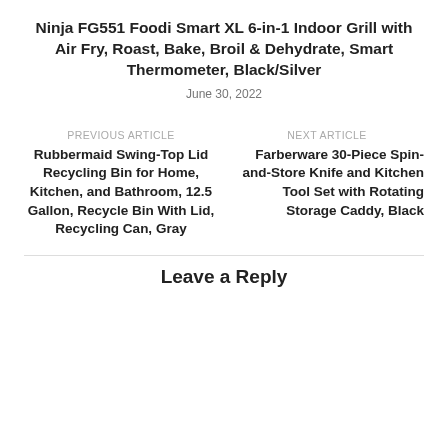Ninja FG551 Foodi Smart XL 6-in-1 Indoor Grill with Air Fry, Roast, Bake, Broil & Dehydrate, Smart Thermometer, Black/Silver
June 30, 2022
PREVIOUS ARTICLE
Rubbermaid Swing-Top Lid Recycling Bin for Home, Kitchen, and Bathroom, 12.5 Gallon, Recycle Bin With Lid, Recycling Can, Gray
NEXT ARTICLE
Farberware 30-Piece Spin-and-Store Knife and Kitchen Tool Set with Rotating Storage Caddy, Black
Leave a Reply